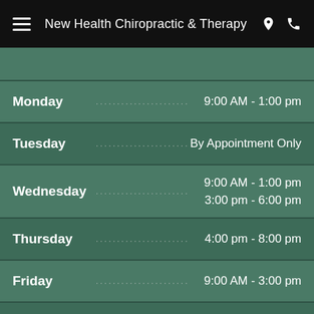New Health Chiropractic & Therapy
| Day |  | Hours |
| --- | --- | --- |
| Monday | ...................................... | 9:00 AM - 1:00 pm |
| Tuesday | .............................. | By Appointment Only |
| Wednesday | ...................................... | 9:00 AM - 1:00 pm
3:00 pm - 6:00 pm |
| Thursday | ...................................... | 4:00 pm - 8:00 pm |
| Friday | ...................................... | 9:00 AM - 3:00 pm |
| Saturday | ...................................... | 9:00 am - 12:00 pm |